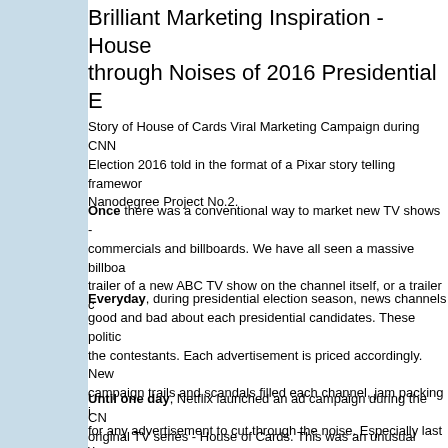Brilliant Marketing Inspiration - House through Noises of 2016 Presidential E
Story of House of Cards Viral Marketing Campaign during CNN Election 2016 told in the format of a Pixar story telling framework. Nanodegree Project No.2.
Once there was a conventional way to market new TV shows - commercials and billboards. We have all seen a massive billboard trailer of a new ABC TV show on the channel itself, or a trailer c
Everyday, during presidential election season, news channels good and bad about each presidential candidates. These politic the contestants. Each advertisement is priced accordingly. New campaign trails and scandals filled each channel, jam packing i for any advertisement to cut through the noise. Especially last y essentially dominated social channels and even news outlets.
Until one day, Netflix launched an ad campaign during the CN original TV series - House of Cards. This was an unusual marke Cola ad or an Oreo ad but a highly political ad in the fictional wo infamous Frank Underwood is running for president. Netflix use insert to market the newest season of House of Cards.